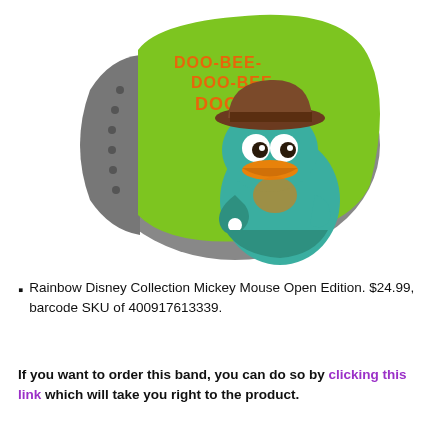[Figure (photo): A green MagicBand (Disney wristband) featuring Perry the Platypus (Agent P) from Phineas and Ferb, wearing a brown fedora hat and teal outfit, with orange text reading 'DOO-BEE-DOO-BEE-DOO-BAH!' on the green band surface. The band has a gray strap with holes.]
Rainbow Disney Collection Mickey Mouse Open Edition. $24.99, barcode SKU of 400917613339.
If you want to order this band, you can do so by clicking this link which will take you right to the product.